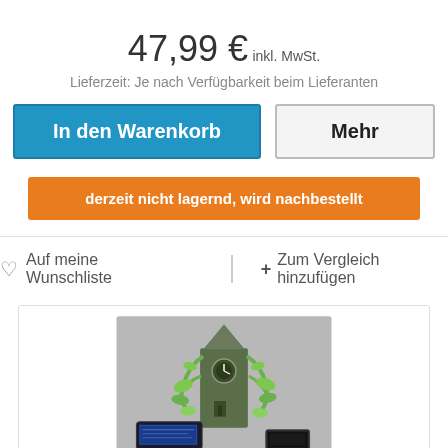47,99 € inkl. MwSt.
Lieferzeit: Je nach Verfügbarkeit beim Lieferanten
In den Warenkorb
Mehr
derzeit nicht lagernd, wird nachbestellt
Auf meine Wunschliste
Zum Vergleich hinzufügen
[Figure (photo): Product image showing a decorative clock tower figure with green vines/leaves, flanked by a tablet device on the left and a small item on the right, displayed in a gray background box]